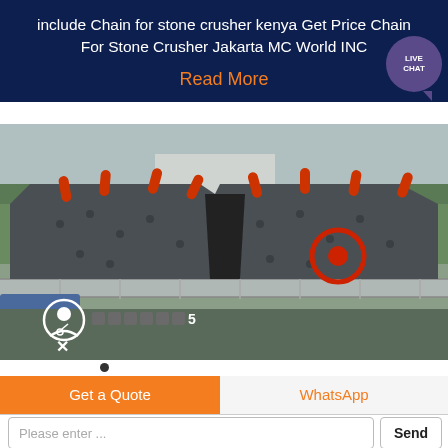include Chain for stone crusher kenya Get Price Chain For Stone Crusher Jakarta MC World INC
Read More
[Figure (photo): Photo of two large industrial stone crusher machines mounted on a platform with trees in background. Red protrusions and a red circular wheel component visible. An overlay shows a chat interface with a user icon and text, with an X close button.]
Get a Quote
WhatsApp
Please enter ...
Send